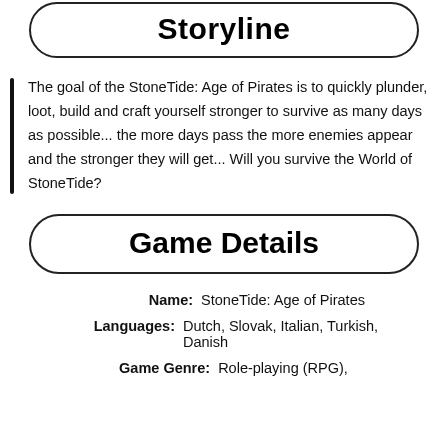Storyline
The goal of the StoneTide: Age of Pirates is to quickly plunder, loot, build and craft yourself stronger to survive as many days as possible... the more days pass the more enemies appear and the stronger they will get... Will you survive the World of StoneTide?
Game Details
Name: StoneTide: Age of Pirates
Languages: Dutch, Slovak, Italian, Turkish, Danish
Game Genre: Role-playing (RPG),